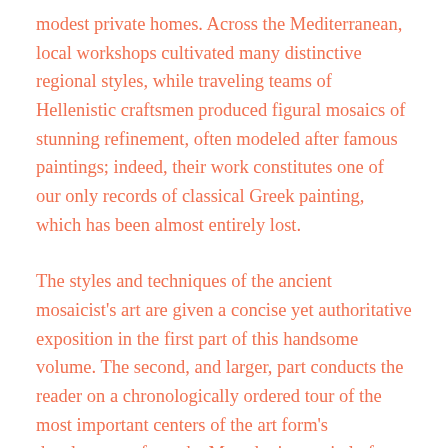modest private homes. Across the Mediterranean, local workshops cultivated many distinctive regional styles, while traveling teams of Hellenistic craftsmen produced figural mosaics of stunning refinement, often modeled after famous paintings; indeed, their work constitutes one of our only records of classical Greek painting, which has been almost entirely lost.
The styles and techniques of the ancient mosaicist's art are given a concise yet authoritative exposition in the first part of this handsome volume. The second, and larger, part conducts the reader on a chronologically ordered tour of the most important centers of the art form's development, from the Macedonian capital of Pella, whose compositions in natural pebbles set a high artistic standard for mosaics at the beginning of their history, to the Basilica of San Vitale at Ravenna, whose wall and